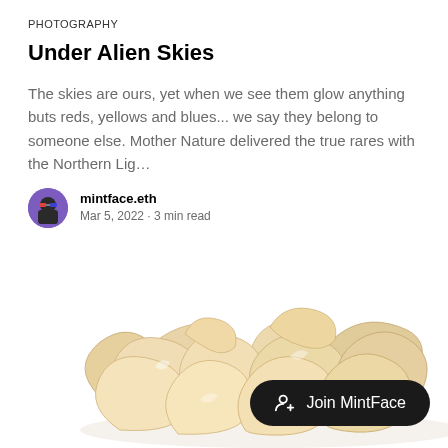PHOTOGRAPHY
Under Alien Skies
The skies are ours, yet when we see them glow anything buts reds, yellows and blues... we say they belong to someone else. Mother Nature delivered the true rares with the Northern Lig…
mintface.eth
Mar 5, 2022 · 3 min read
[Figure (photo): Pile of dried wood shavings or curled wood chips on a white background]
Join MintFace